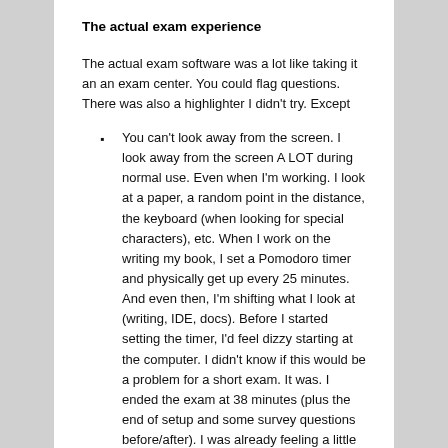The actual exam experience
The actual exam software was a lot like taking it an an exam center. You could flag questions. There was also a highlighter I didn't try. Except
You can't look away from the screen. I look away from the screen A LOT during normal use. Even when I'm working. I look at a paper, a random point in the distance, the keyboard (when looking for special characters), etc. When I work on the writing my book, I set a Pomodoro timer and physically get up every 25 minutes. And even then, I'm shifting what I look at (writing, IDE, docs). Before I started setting the timer, I'd feel dizzy starting at the computer. I didn't know if this would be a problem for a short exam. It was. I ended the exam at 38 minutes (plus the end of setup and some survey questions before/after). I was already feeling a little dizzy at that point. Not enough to get a headache or